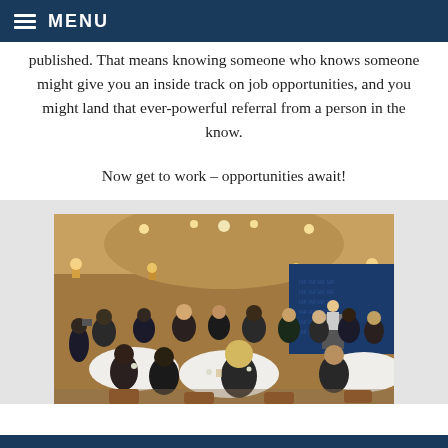MENU
published. That means knowing someone who knows someone might give you an inside track on job opportunities, and you might land that ever-powerful referral from a person in the know.
Now get to work – opportunities await!
[Figure (photo): A large conference banquet hall filled with attendees seated at round tables. A speaker stands at a podium on the right side in front of a blue branded backdrop. The room has warm lighting with wall sconces and ceiling lights.]